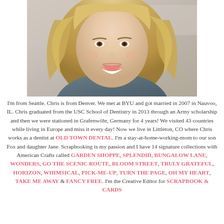[Figure (photo): Portrait photo of a smiling young woman with long blonde wavy hair wearing a dark grey/blue top, photographed from shoulders up in what appears to be a store or craft space.]
I'm from Seattle. Chris is from Denver. We met at BYU and got married in 2007 in Nauvoo, IL. Chris graduated from the USC School of Dentistry in 2013 through an Army scholarship and then we were stationed in Grafenwöhr, Germany for 4 years! We visited 43 countries while living in Europe and miss it every day! Now we live in Littleton, CO where Chris works as a dentist at OLD TOWN DENTAL. I'm a stay-at-home-working-mom to our son Fox and daughter Jane. Scrapbooking is my passion and I have 14 signature collections with American Crafts called GARDEN SHOPPE, SPLENDID, BUNGALOW LANE, WONDERS, GO THE SCENIC ROUTE, BLOOM STREET, TRULY GRATEFUL, HORIZON, WHIMSICAL, PICK-ME-UP, TURN THE PAGE, OH MY HEART, TAKE ME AWAY & FANCY FREE. I'm the Creative Editor for SCRAPBOOK & CARDS